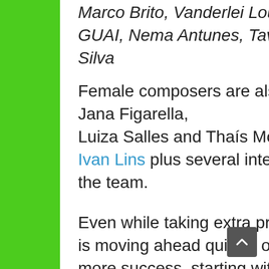Marco Brito, Vanderlei Loureiro, GUAI, Nema Antunes, Tavinho Menezes, Erivelton Silva
Female composers are also celebrated in this work, such as Jana Figarella, Luiza Salles and Thaís Mota along with Carlinhos Brown and Ivan Lins plus several international guest performers to light up the team.
Even while taking extra precautions during the pandemic, GUAI is moving ahead quickly on her return to the studio, hungry for more success, starting with the new single next month.
“There have been some tough years in my battle to see this project reach the world, but isn’t it true that calm seas never made a good sailor? There will be super guests voyaging aboard our boat. We need to